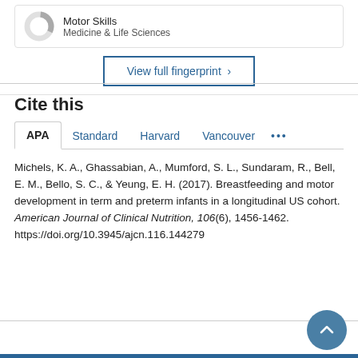Motor Skills
Medicine & Life Sciences
View full fingerprint >
Cite this
APA | Standard | Harvard | Vancouver ...
Michels, K. A., Ghassabian, A., Mumford, S. L., Sundaram, R., Bell, E. M., Bello, S. C., & Yeung, E. H. (2017). Breastfeeding and motor development in term and preterm infants in a longitudinal US cohort. American Journal of Clinical Nutrition, 106(6), 1456-1462. https://doi.org/10.3945/ajcn.116.144279